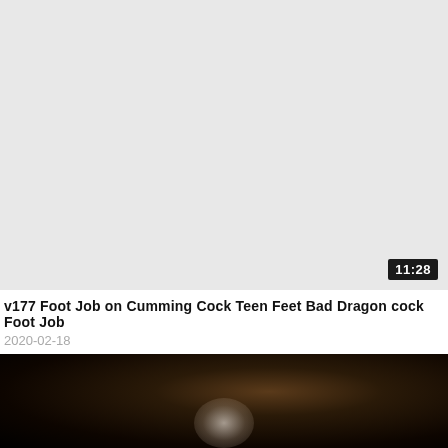[Figure (screenshot): Video thumbnail placeholder — light gray background with a duration badge showing 11:28 in the bottom-right corner]
v177 Foot Job on Cumming Cock Teen Feet Bad Dragon cock Foot Job
2020-02-18
[Figure (photo): Dark video thumbnail showing a blurred motion image with dark brown and black tones, slight highlight visible at bottom center]